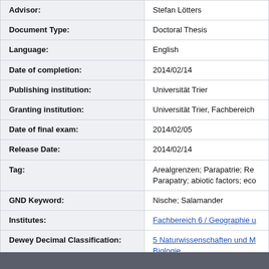| Field | Value |
| --- | --- |
| Advisor: | Stefan Lötters |
| Document Type: | Doctoral Thesis |
| Language: | English |
| Date of completion: | 2014/02/14 |
| Publishing institution: | Universität Trier |
| Granting institution: | Universität Trier, Fachbereich |
| Date of final exam: | 2014/02/05 |
| Release Date: | 2014/02/14 |
| Tag: | Arealgrenzen; Parapatrie; Re… Parapatry; abiotic factors; eco… |
| GND Keyword: | Nische; Salamander |
| Institutes: | Fachbereich 6 / Geographie u… |
| Dewey Decimal Classification: | 5 Naturwissenschaften und M… Biologie |